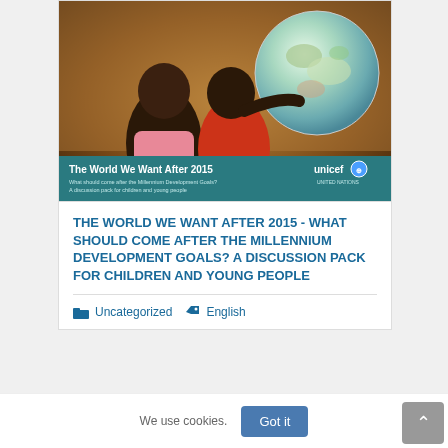[Figure (photo): Two African children examining a globe. A teal banner at the bottom reads 'The World We Want After 2015' with UNICEF logo. Subtitle: 'What should come after the Millennium Development Goals? A discussion pack for children and young people']
THE WORLD WE WANT AFTER 2015 - WHAT SHOULD COME AFTER THE MILLENNIUM DEVELOPMENT GOALS? A DISCUSSION PACK FOR CHILDREN AND YOUNG PEOPLE
Uncategorized  English
We use cookies.